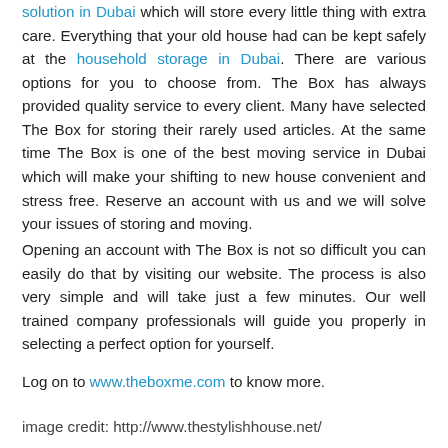solution in Dubai which will store every little thing with extra care. Everything that your old house had can be kept safely at the household storage in Dubai. There are various options for you to choose from. The Box has always provided quality service to every client. Many have selected The Box for storing their rarely used articles. At the same time The Box is one of the best moving service in Dubai which will make your shifting to new house convenient and stress free. Reserve an account with us and we will solve your issues of storing and moving.
Opening an account with The Box is not so difficult you can easily do that by visiting our website. The process is also very simple and will take just a few minutes. Our well trained company professionals will guide you properly in selecting a perfect option for yourself.
Log on to www.theboxme.com to know more.
image credit: http://www.thestylishhouse.net/